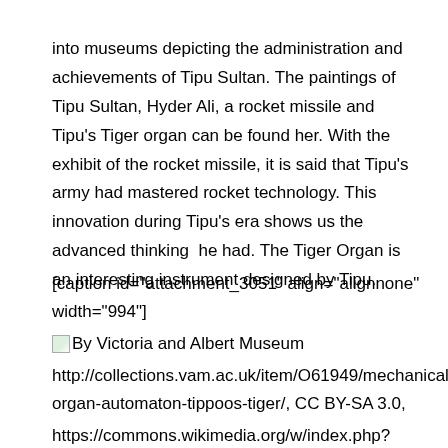into museums depicting the administration and achievements of Tipu Sultan. The paintings of Tipu Sultan, Hyder Ali, a rocket missile and Tipu's Tiger organ can be found her. With the exhibit of the rocket missile, it is said that Tipu's army had mastered rocket technology. This innovation during Tipu's era shows us the advanced thinking  he had. The Tiger Organ is an interesting instrument designed by Tipu.
[caption id="attachment_3051" align="alignnone" width="994"] By Victoria and Albert Museum http://collections.vam.ac.uk/item/O61949/mechanical-organ-automaton-tippoos-tiger/, CC BY-SA 3.0, https://commons.wikimedia.org/w/index.php?curid=15792659 By Victoria and Albert Museum http://collections.vam.ac.uk/item/O61949/mechanical-organ-automaton-tippoos-tiger/, CC BY-SA 3.0,